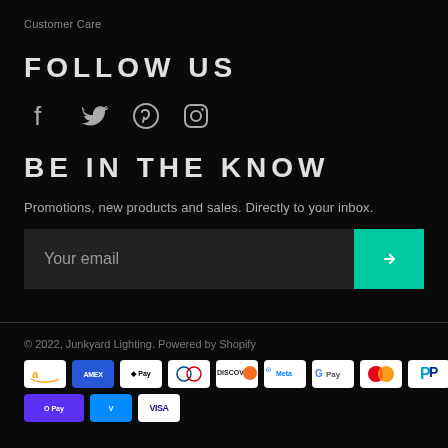Customer Care
FOLLOW US
[Figure (illustration): Social media icons: Facebook, Twitter, Pinterest, Instagram]
BE IN THE KNOW
Promotions, new products and sales. Directly to your inbox.
[Figure (other): Email subscription input field with submit button (arrow)]
© 2022, Junkyard Lighting. Powered by Shopify
[Figure (other): Payment method icons: Amazon, Amex, Apple Pay, Diners Club, Discover, Meta Pay, Google Pay, Mastercard, PayPal, Shop Pay, Venmo, Visa]